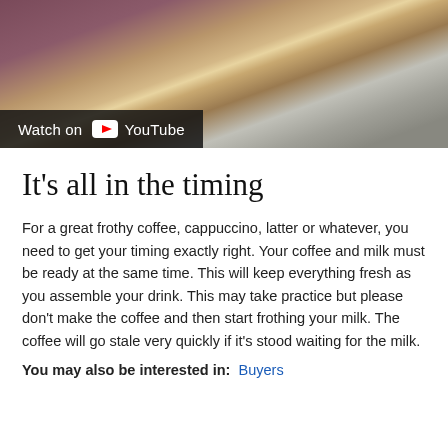[Figure (screenshot): A YouTube embedded video thumbnail showing a frothy coffee drink in a glass measuring cup on a counter, with a 'Watch on YouTube' overlay button at the bottom left.]
It’s all in the timing
For a great frothy coffee, cappuccino, latter or whatever, you need to get your timing exactly right. Your coffee and milk must be ready at the same time. This will keep everything fresh as you assemble your drink. This may take practice but please don’t make the coffee and then start frothing your milk. The coffee will go stale very quickly if it’s stood waiting for the milk.
You may also be interested in:  Buyers